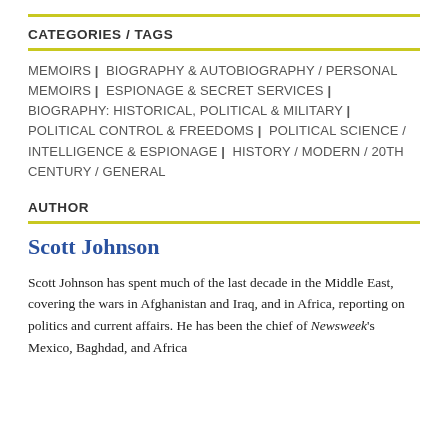CATEGORIES / TAGS
MEMOIRS | BIOGRAPHY & AUTOBIOGRAPHY / PERSONAL MEMOIRS | ESPIONAGE & SECRET SERVICES | BIOGRAPHY: HISTORICAL, POLITICAL & MILITARY | POLITICAL CONTROL & FREEDOMS | POLITICAL SCIENCE / INTELLIGENCE & ESPIONAGE | HISTORY / MODERN / 20TH CENTURY / GENERAL
AUTHOR
Scott Johnson
Scott Johnson has spent much of the last decade in the Middle East, covering the wars in Afghanistan and Iraq, and in Africa, reporting on politics and current affairs. He has been the chief of Newsweek's Mexico, Baghdad, and Africa